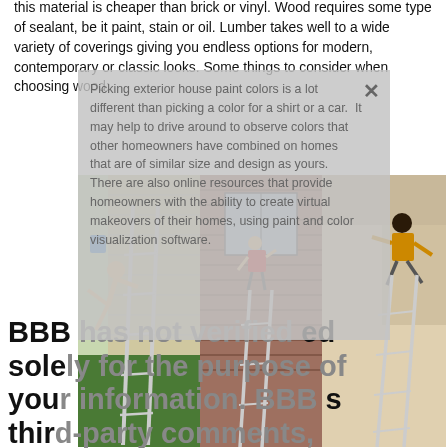this material is cheaper than brick or vinyl. Wood requires some type of sealant, be it paint, stain or oil. Lumber takes well to a wide variety of coverings giving you endless options for modern, contemporary or classic looks. Some things to consider when choosing wood:
[Figure (photo): Three side-by-side photos showing people falling off ladders near houses: left photo shows person falling off ladder on vinyl siding house exterior, center shows person hanging from window on brick house, right shows person falling off ladder indoors.]
Picking exterior house paint colors is a lot different than picking a color for a shirt or a car. It may help to drive around to observe colors that other homeowners have combined on homes that are of similar size and design as yours. There are also online resources that provide homeowners with the ability to create virtual makeovers of their homes, using paint and color visualization software.
BBB has not verified the accuracy of any claims made and is not responsible solely for the purpose of providing you with information. BBB does not endorse any third-party comments, complaints, reviews and/or responses on this website to affirm that the information provided is accurate. However, BBB does not verify the accuracy of